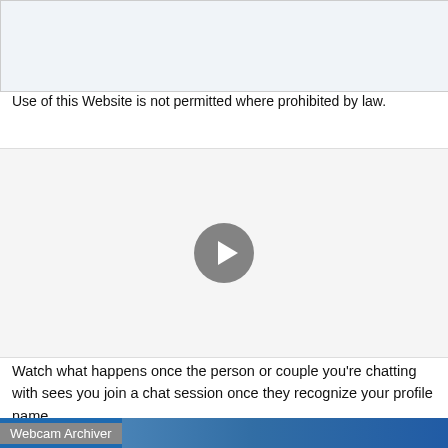[Figure (screenshot): Light blue/grey empty area at top of page]
Use of this Website is not permitted where prohibited by law.
Webcam Archiver
[Figure (screenshot): Video player with grey background and a circular play button in the center]
Watch what happens once the person or couple you're chatting with sees you join a chat session once they recognize your profile name.
[Figure (screenshot): Bottom banner with blue background and Webcam Archiver label with thumbnail image]